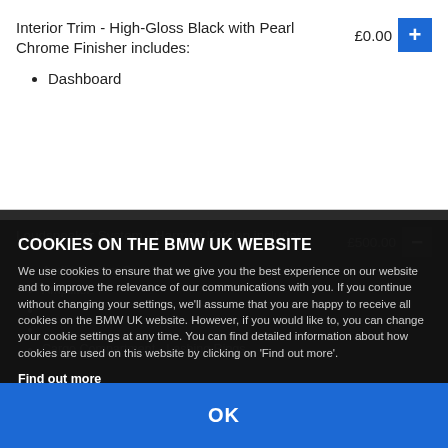Interior Trim - High-Gloss Black with Pearl Chrome Finisher includes:
Dashboard
Loudspeaker System - Harmon Kardon includes:
Audio System Speakers
Amplifier
Cargo Compartment - Lashing Rings
M Sp... includes:
Audio & Communication
Badges
Brake Calipers
[Figure (screenshot): Cookie consent modal overlay on BMW UK website with title 'COOKIES ON THE BMW UK WEBSITE', body text about cookie usage, 'Find out more' link, and 'OK' button]